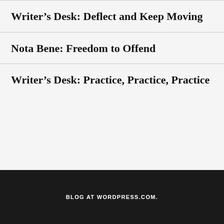Writer’s Desk: Deflect and Keep Moving
Nota Bene: Freedom to Offend
Writer’s Desk: Practice, Practice, Practice
BLOG AT WORDPRESS.COM.